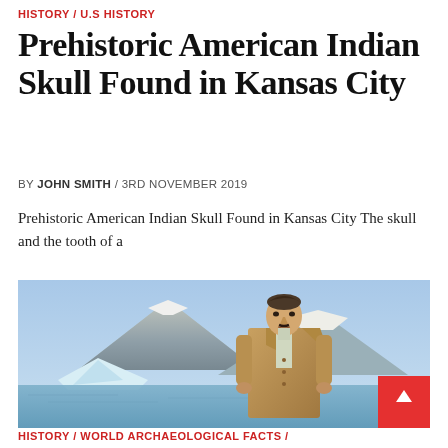HISTORY / U.S HISTORY
Prehistoric American Indian Skull Found in Kansas City
BY JOHN SMITH / 3RD NOVEMBER 2019
Prehistoric American Indian Skull Found in Kansas City The skull and the tooth of a
[Figure (photo): A man in a tan suit stands in front of a mountain and glacier/iceberg landscape with blue sky and water]
HISTORY / WORLD ARCHAEOLOGICAL FACTS /